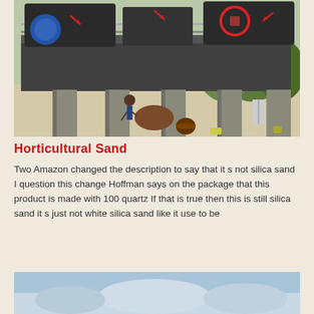[Figure (photo): Industrial crusher/mining equipment elevated on concrete pillars with metal railings. A worker stands below. A red circle highlights a component on the machine. Background shows green trees and sandy/rocky ground with equipment scattered around.]
Horticultural Sand
Two Amazon changed the description to say that it s not silica sand I question this change Hoffman says on the package that this product is made with 100 quartz If that is true then this is still silica sand it s just not white silica sand like it use to be
[Figure (photo): Partial view of a second photo at the bottom of the page, showing blue sky.]